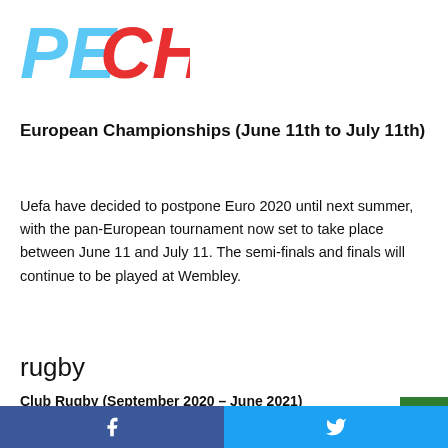[Figure (logo): PECHIP logo — PE in blue, CHIP in red, bold stylized text]
European Championships (June 11th to July 11th)
Uefa have decided to postpone Euro 2020 until next summer, with the pan-European tournament now set to take place between June 11 and July 11. The semi-finals and finals will continue to be played at Wembley.
rugby
Club Rugby (September 2020 – June 2021)
Domestic and European rugby has restarted with teams currently completing the 2019-20 season. This year's Premiership final takes place on October 24th. The 2020/21...